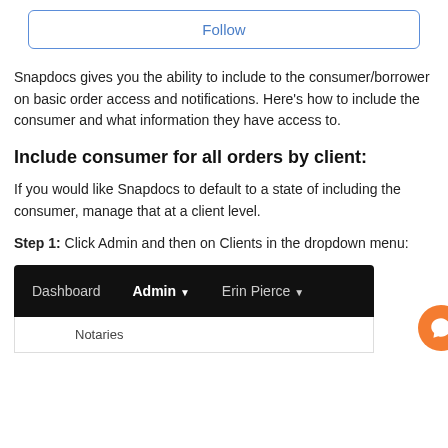[Figure (screenshot): Follow button — a rectangular button with blue border and blue text reading 'Follow']
Snapdocs gives you the ability to include to the consumer/borrower on basic order access and notifications. Here's how to include the consumer and what information they have access to.
Include consumer for all orders by client:
If you would like Snapdocs to default to a state of including the consumer, manage that at a client level.
Step 1: Click Admin and then on Clients in the dropdown menu:
[Figure (screenshot): Navigation bar screenshot showing Dashboard, Admin (with dropdown arrow), and Erin Pierce (with dropdown arrow) menu items on a black background, with a Notaries item partially visible below, and an orange chat button on the right.]